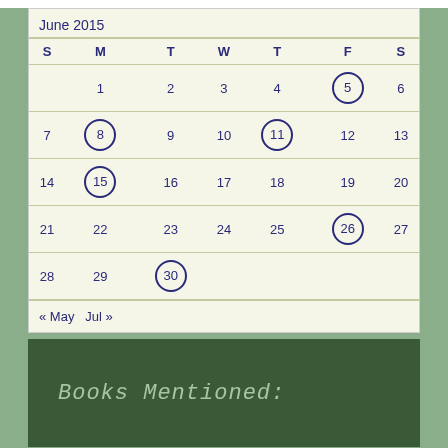[Figure (other): June 2015 monthly calendar with circled dates: 5, 8, 11, 15, 26, 30. Navigation links: « May  Jul »]
Books Mentioned: